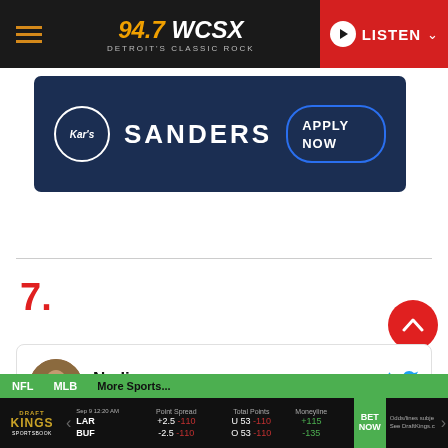94.7 WCSX – DETROIT'S CLASSIC ROCK – LISTEN
[Figure (advertisement): Kar's Sanders – Apply Now ad banner on dark navy background]
7.
[Figure (screenshot): Twitter/X profile card: Nadine @rockmama41 · Follow]
NFL  MLB  More Sports... | DraftKings Sportsbook: LAR +2.5 -110 / BUF -2.5 -110, U 53 -110 / O 53 -110, +115 / -135, BET NOW. Odds/lines subject. See DraftKings.com